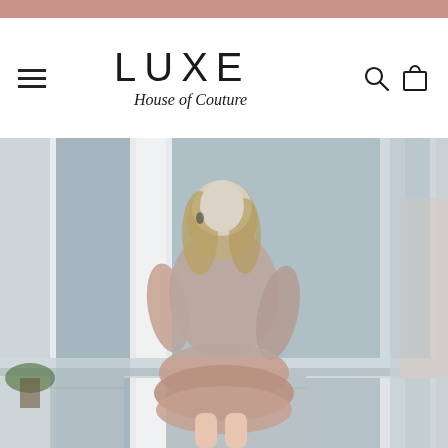LUXE House of Couture — navigation header with logo, hamburger menu, search and cart icons
[Figure (photo): Fashion photo of a blonde woman wearing a rose gold/blush satin ruffled skirt set with long sleeves, sitting on a window ledge of a white building exterior with large windows]